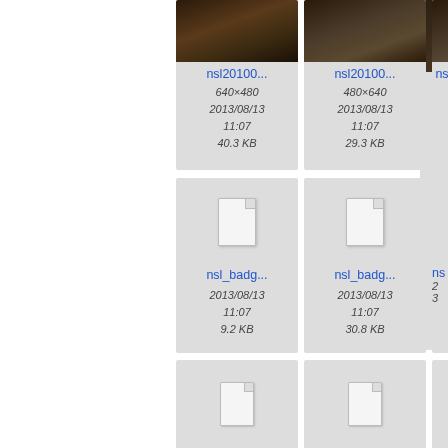[Figure (screenshot): File browser grid view showing image and document thumbnails with filenames nsl20100..., file sizes and dates 2013/08/13 11:07]
nsl20100...
640×480
2013/08/13
11:07
40.3 KB
nsl20100...
480×640
2013/08/13
11:07
29.3 KB
nsl_badg...
2013/08/13
11:07
9.2 KB
nsl_badg...
2013/08/13
11:07
30.8 KB